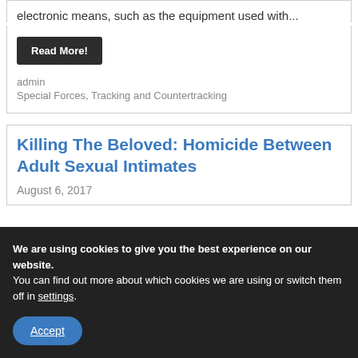electronic means, such as the equipment used with...
Read More!
admin
Special Forces, Tracking and Countertracking
Killing The Beloved: Homicide Between Adult Sexual Intimates
August 6, 2017
We are using cookies to give you the best experience on our website.
You can find out more about which cookies we are using or switch them off in settings.
Accept